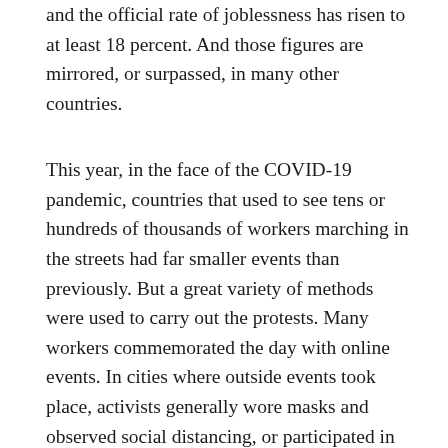and the official rate of joblessness has risen to at least 18 percent. And those figures are mirrored, or surpassed, in many other countries.
This year, in the face of the COVID-19 pandemic, countries that used to see tens or hundreds of thousands of workers marching in the streets had far smaller events than previously. But a great variety of methods were used to carry out the protests. Many workers commemorated the day with online events. In cities where outside events took place, activists generally wore masks and observed social distancing, or participated in car caravans, horn honking, and banner drops. Rhythmic banging on pots (called a "cacerolazo" in Latin America, where the type of protest originated) took place in cities throughout the